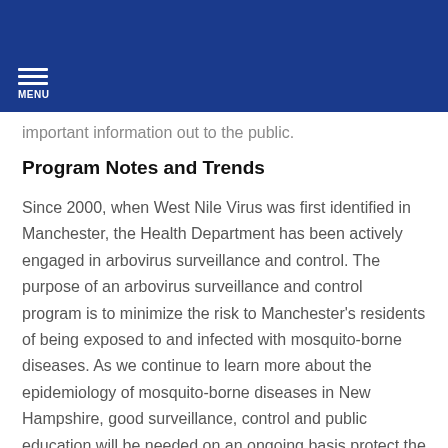MENU
important information out to the public.
Program Notes and Trends
Since 2000, when West Nile Virus was first identified in Manchester, the Health Department has been actively engaged in arbovirus surveillance and control. The purpose of an arbovirus surveillance and control program is to minimize the risk to Manchester's residents of being exposed to and infected with mosquito-borne diseases. As we continue to learn more about the epidemiology of mosquito-borne diseases in New Hampshire, good surveillance, control and public education will be needed on an ongoing basis protect the public health in Manchester.